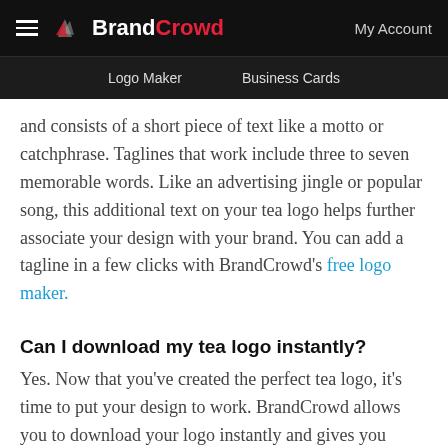BrandCrowd — Logo Maker | Business Cards | My Account
and consists of a short piece of text like a motto or catchphrase. Taglines that work include three to seven memorable words. Like an advertising jingle or popular song, this additional text on your tea logo helps further associate your design with your brand. You can add a tagline in a few clicks with BrandCrowd's free logo maker.
Can I download my tea logo instantly?
Yes. Now that you've created the perfect tea logo, it's time to put your design to work. BrandCrowd allows you to download your logo instantly and gives you access to all the files you need. BrandCrowd provides